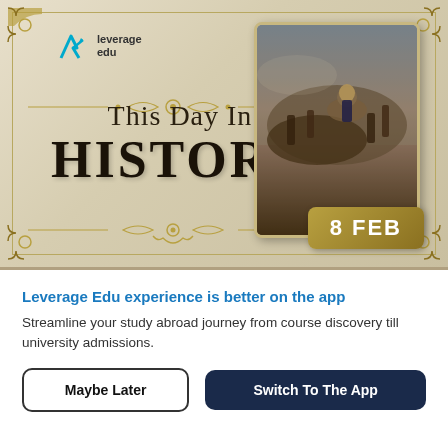[Figure (illustration): This Day In History banner with Leverage Edu logo, decorative ornamental border, 'This Day In' and 'HISTORY' text on parchment background, and a photo card on the right showing a historical battle painting (Napoleon era), with a date badge '8 FEB']
Leverage Edu experience is better on the app
Streamline your study abroad journey from course discovery till university admissions.
Maybe Later
Switch To The App